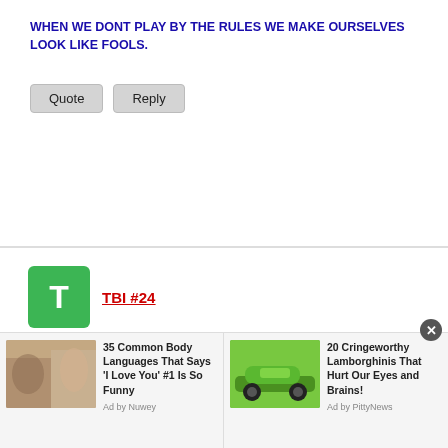WHEN WE DONT PLAY BY THE RULES WE MAKE OURSELVES LOOK LIKE FOOLS.
Quote | Reply
[Figure (other): User avatar: green square with white letter T]
TBI #24
Re: Is eastside that bad?Or are they that bad?
first off white boy you would have done nothing and second the only players that really know are the two that was in the play. i don't even know why you brought this that back up. our player felt that he was trying to make a play and the player from esp thought it was dirty, but after everything was calmed down we finished the game and had another game with no problems. We TBI had no ill feelings towards esp and love playing against them guys. whatever happen in indy i can speak on because i was not there but im sure esp will take care of what they need to. hey whats up MS L.A, sorry we couldn't make it to indy but im sure wil see you guys in the lou.
[Figure (photo): Advertisement: 35 Common Body Languages That Says 'I Love You' #1 Is So Funny - Ad by Nuvey, with photo of couple]
[Figure (photo): Advertisement: 20 Cringeworthy Lamborghinis That Hurt Our Eyes and Brains! - Ad by PittyNews, with photo of green Lamborghini]